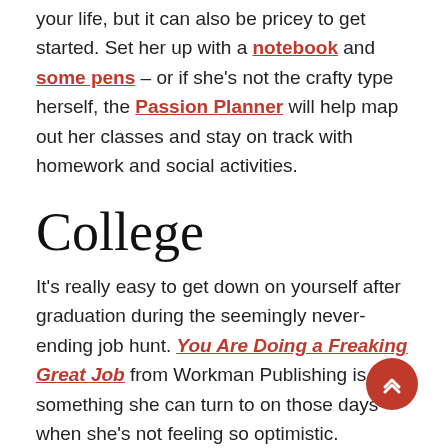your life, but it can also be pricey to get started. Set her up with a notebook and some pens – or if she's not the crafty type herself, the Passion Planner will help map out her classes and stay on track with homework and social activities.
College
It's really easy to get down on yourself after graduation during the seemingly never-ending job hunt. You Are Doing a Freaking Great Job from Workman Publishing is something she can turn to on those days when she's not feeling so optimistic.
Get a four-piece coffee pourover set: it includes